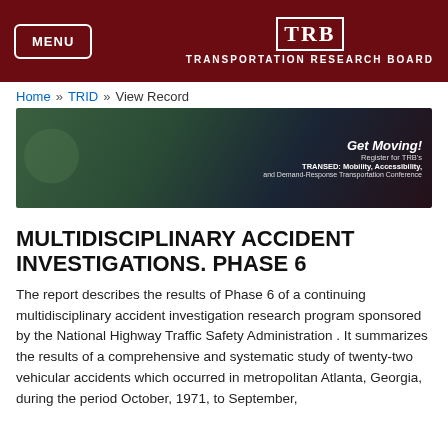MENU | TRB TRANSPORTATION RESEARCH BOARD
Home » TRID » View Record
[Figure (photo): Banner photo showing group of people at a conference, with overlay text: 'Get Moving! Register for TRB's TRANSED: Mobility, Accessibility, and Demand-Response Transportation Conference']
MULTIDISCIPLINARY ACCIDENT INVESTIGATIONS. PHASE 6
The report describes the results of Phase 6 of a continuing multidisciplinary accident investigation research program sponsored by the National Highway Traffic Safety Administration . It summarizes the results of a comprehensive and systematic study of twenty-two vehicular accidents which occurred in metropolitan Atlanta, Georgia, during the period October, 1971, to September,